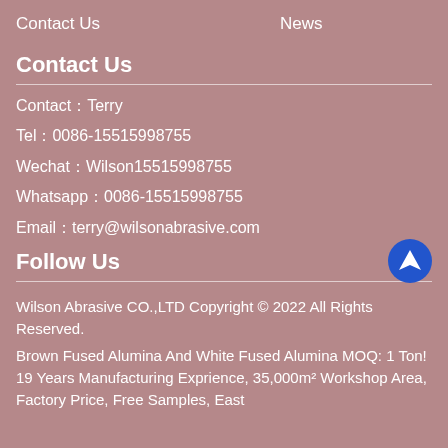Contact Us   News
Contact Us
Contact：Terry
Tel：0086-15515998755
Wechat：Wilson15515998755
Whatsapp：0086-15515998755
Email：terry@wilsonabrasive.com
Follow Us
Wilson Abrasive CO.,LTD Copyright © 2022 All Rights Reserved.
Brown Fused Alumina And White Fused Alumina MOQ: 1 Ton! 19 Years Manufacturing Exprience, 35,000m² Workshop Area, Factory Price, Free Samples, Fast